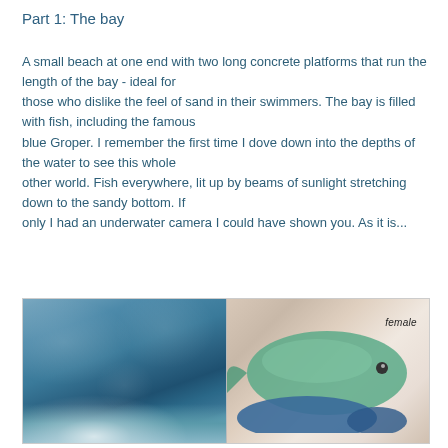Part 1: The bay
A small beach at one end with two long concrete platforms that run the length of the bay - ideal for those who dislike the feel of sand in their swimmers. The bay is filled with fish, including the famous blue Groper. I remember the first time I dove down into the depths of the water to see this whole other world. Fish everywhere, lit up by beams of sunlight stretching down to the sandy bottom. If only I had an underwater camera I could have shown you. As it is...
[Figure (photo): Two side-by-side photos: left shows a bay/ocean water surface with light reflections and waves; right shows a close-up of a fish (blue Groper, female) being held, with the word 'female' written on it.]